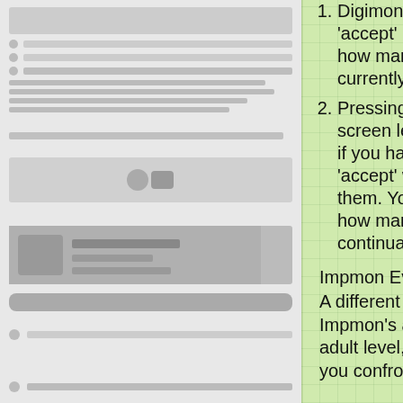[Figure (screenshot): Left panel showing a game device/UI screenshot with gray interface elements including bars, circles, and boxes simulating a handheld game screen]
Digimon is on the screen brings up the map. Pressing the 'accept' button shows you how many steps are left, and how many have been taken, along with what area you are currently in. Press 'cancel' to exit these screens.
Pressing the 'accept' button while your Digimon is on the screen lets you scroll through the other Digimon you have, if you have rescued them from Impmon. If you push 'accept' while on another Digimon, you will begin to use them. You can see how many battles they've won, and how many more they need until their next evolution, by continually pressing 'accept.'
Impmon Event:
A different tune than that of an enemy or boss tune marks Impmon's appearance. Try to have your Digimon at the adult level, trained, and a plug-in is useful as well. When you confront Impmon initially, you must accept his